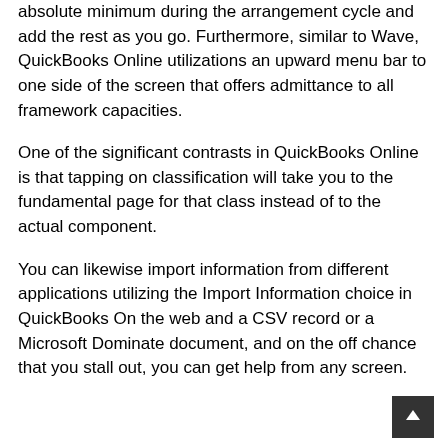absolute minimum during the arrangement cycle and add the rest as you go. Furthermore, similar to Wave, QuickBooks Online utilizations an upward menu bar to one side of the screen that offers admittance to all framework capacities.
One of the significant contrasts in QuickBooks Online is that tapping on classification will take you to the fundamental page for that class instead of to the actual component.
You can likewise import information from different applications utilizing the Import Information choice in QuickBooks On the web and a CSV record or a Microsoft Dominate document, and on the off chance that you stall out, you can get help from any screen.